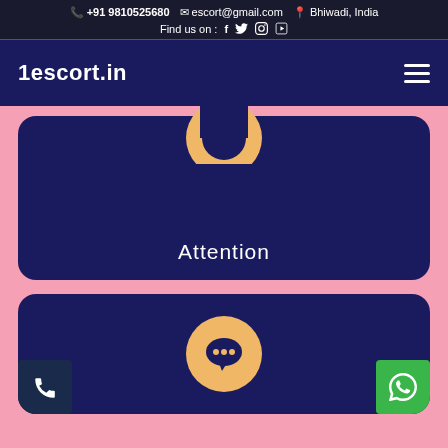+91 9810525680  escort@gmail.com  Bhiwadi, India  Find us on : f  [twitter] [instagram] [youtube]
1escort.in
[Figure (illustration): Dark navy card with a golden/amber donut-shaped icon (circle with U-notch) and the text 'Attention' in white below it, on a pink background]
[Figure (illustration): Dark navy card with a golden/amber speech bubble icon circle, phone call button on bottom left, WhatsApp button on bottom right, on a pink background]